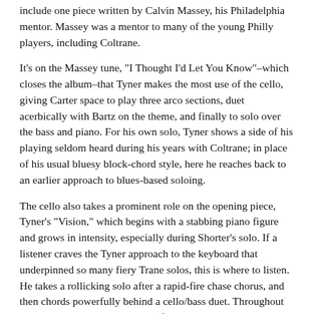include one piece written by Calvin Massey, his Philadelphia mentor. Massey was a mentor to many of the young Philly players, including Coltrane.
It’s on the Massey tune, “I Thought I’d Let You Know”–which closes the album–that Tyner makes the most use of the cello, giving Carter space to play three arco sections, duet acerbically with Bartz on the theme, and finally to solo over the bass and piano. For his own solo, Tyner shows a side of his playing seldom heard during his years with Coltrane; in place of his usual bluesy block-chord style, here he reaches back to an earlier approach to blues-based soloing.
The cello also takes a prominent role on the opening piece, Tyner’s “Vision,” which begins with a stabbing piano figure and grows in intensity, especially during Shorter’s solo. If a listener craves the Tyner approach to the keyboard that underpinned so many fiery Trane solos, this is where to listen. He takes a rollicking solo after a rapid-fire chase chorus, and then chords powerfully behind a cello/bass duet. Throughout the piece, he illustrates his multifaceted compositional skill,